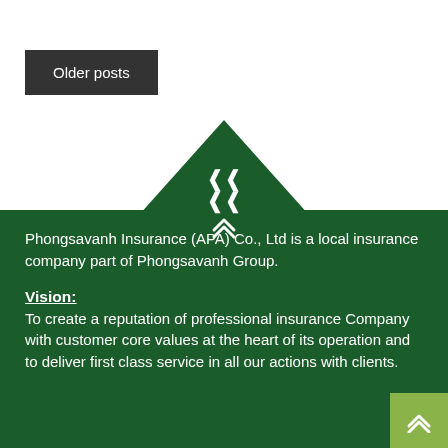Older posts
Phongsavanh Insurance (APA) Co., Ltd  is a local insurance company part of Phongsavanh Group.
Vision:
To create a reputation of professional insurance Company with customer core values at the heart of its operation and to deliver first class service in all our actions with clients.